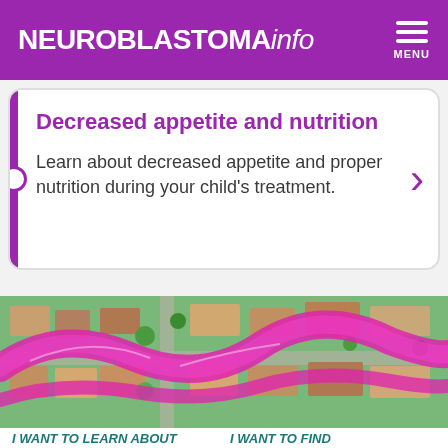NEUROBLASTOMAinfo
Decreased appetite and nutrition
Learn about decreased appetite and proper nutrition during your child's treatment.
[Figure (photo): Aerial view of a residential neighborhood with houses, gardens and roads, overlaid with a large pink/magenta ribbon or path running through the image.]
I WANT TO LEARN ABOUT
I WANT TO FIND